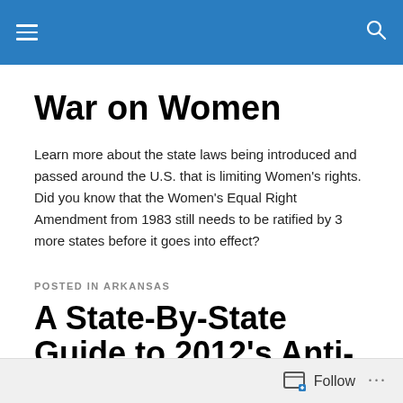War on Women — navigation bar
War on Women
Learn more about the state laws being introduced and passed around the U.S. that is limiting Women's rights. Did you know that the Women's Equal Right Amendment from 1983 still needs to be ratified by 3 more states before it goes into effect?
POSTED IN ARKANSAS
A State-By-State Guide to 2012's Anti-Choice Laws (So Far)
Follow ...